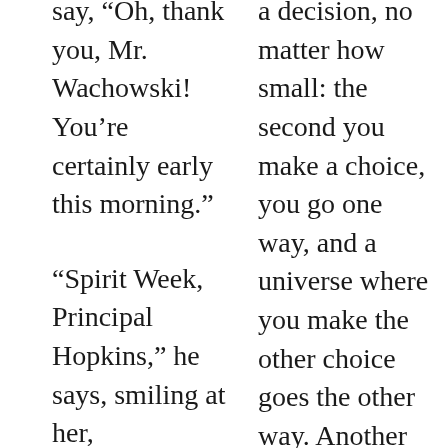say, “Oh, thank you, Mr. Wachowski! You’re certainly early this morning.”
“Spirit Week, Principal Hopkins,” he says, smiling at her, “Everybody
a decision, no matter how small: the second you make a choice, you go one way, and a universe where you make the other choice goes the other way. Another choice,